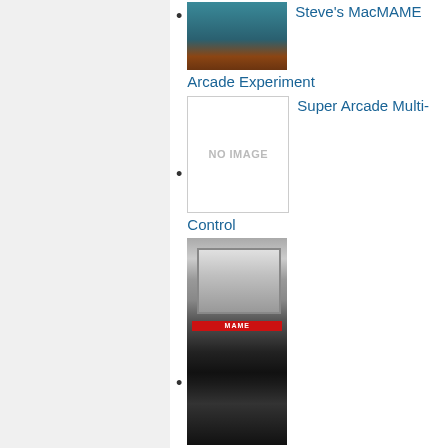Steve's MacMAME Arcade Experiment
Super Arcade Multi-Control
Superion
SUPEROMA
syntharcade
The easy Steering Wheel